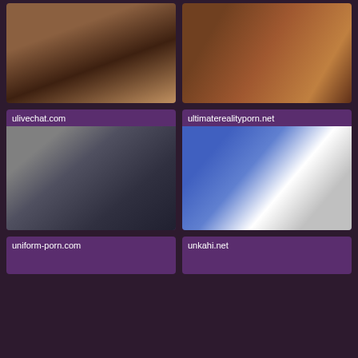[Figure (photo): Partial view of top-left thumbnail card (cropped at top)]
[Figure (photo): Partial view of top-right thumbnail card (cropped at top)]
ulivechat.com
[Figure (photo): Woman in black dress holding green object]
ultimaterealityporn.net
[Figure (photo): Two people in blue room, one clothed and one not, LOVE sign on wall]
uniform-porn.com
unkahi.net